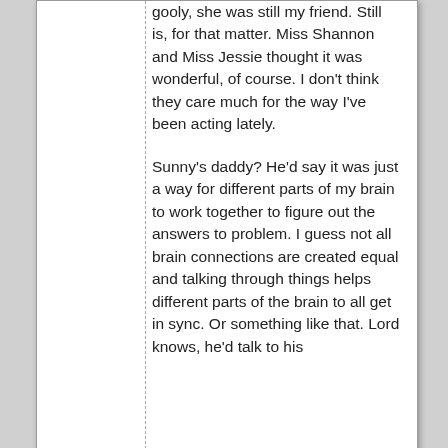gooly, she was still my friend. Still is, for that matter. Miss Shannon and Miss Jessie thought it was wonderful, of course. I don't think they care much for the way I've been acting lately.
Sunny's daddy? He'd say it was just a way for different parts of my brain to work together to figure out the answers to problem. I guess not all brain connections are created equal and talking through things helps different parts of the brain to all get in sync. Or something like that. Lord knows, he'd talk to his